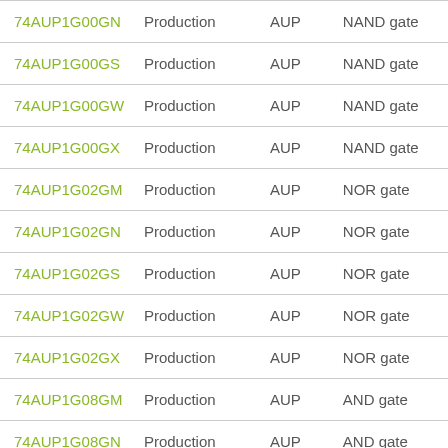| 74AUP1G00GN | Production | AUP | NAND gate |
| 74AUP1G00GS | Production | AUP | NAND gate |
| 74AUP1G00GW | Production | AUP | NAND gate |
| 74AUP1G00GX | Production | AUP | NAND gate |
| 74AUP1G02GM | Production | AUP | NOR gate |
| 74AUP1G02GN | Production | AUP | NOR gate |
| 74AUP1G02GS | Production | AUP | NOR gate |
| 74AUP1G02GW | Production | AUP | NOR gate |
| 74AUP1G02GX | Production | AUP | NOR gate |
| 74AUP1G08GM | Production | AUP | AND gate |
| 74AUP1G08GN | Production | AUP | AND gate |